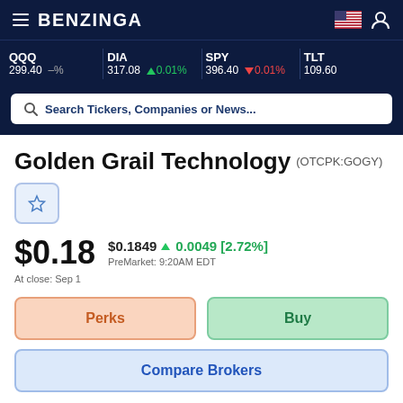BENZINGA
QQQ 299.40 –% | DIA 317.08 ▲ 0.01% | SPY 396.40 ▼ 0.01% | TLT 109.60
Search Tickers, Companies or News...
Golden Grail Technology (OTCPK:GOGY)
$0.18  $0.1849 ▲ 0.0049 [2.72%]  At close: Sep 1  PreMarket: 9:20AM EDT
Perks
Buy
Compare Brokers